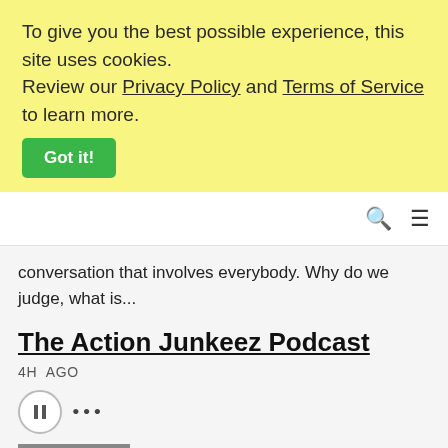To give you the best possible experience, this site uses cookies. Review our Privacy Policy and Terms of Service to learn more. Got it!
conversation that involves everybody. Why do we judge, what is...
The Action Junkeez Podcast
4H  AGO
...
[Figure (logo): The Action Junkeez Podcast logo — red graffiti-style text on grey background]
Action Junkeez is a weekly podcast hosted by Jon Orlando, Adam "The Mayor" Lieberman and sometimes UFC fighter Jake Ellenberger. Join